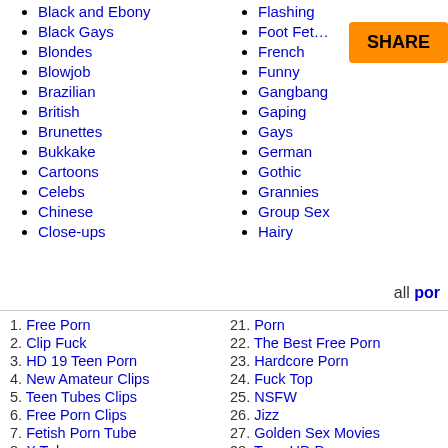Black and Ebony
Black Gays
Blondes
Blowjob
Brazilian
British
Brunettes
Bukkake
Cartoons
Celebs
Chinese
Close-ups
Flashing
Foot Fetish
French
Funny
Gangbang
Gaping
Gays
German
Gothic
Grannies
Group Sex
Hairy
all por
1. Free Porn
2. Clip Fuck
3. HD 19 Teen Porn
4. New Amateur Clips
5. Teen Tubes Clips
6. Free Porn Clips
7. Fetish Porn Tube
8. X Tube
9. Vidz
10. XXX
11. XXX Galleries Galore
12. HD Hard Sex
13. Young Tube Clips
21. Porn
22. The Best Free Porn
23. Hardcore Porn
24. Fuck Top
25. NSFW
26. Jizz
27. Golden Sex Movies
28. Teen HD Porn
29. True Amateur Mpegs
30. Porno Lit
31. Sexy Asian Movs
32. Free Porn Preview
33. Porn Core